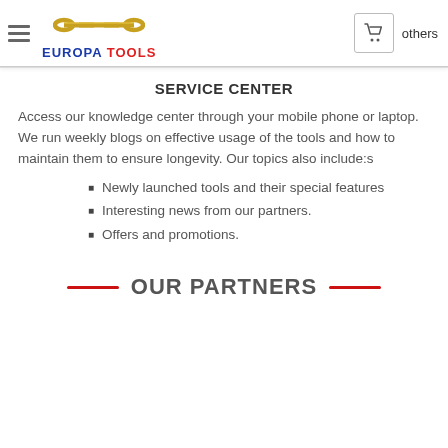EUROPA TOOLS — navigation header with hamburger menu, logo, cart icon, and 'others' link
SERVICE CENTER
Access our knowledge center through your mobile phone or laptop. We run weekly blogs on effective usage of the tools and how to maintain them to ensure longevity. Our topics also include:s
Newly launched tools and their special features
Interesting news from our partners.
Offers and promotions.
OUR PARTNERS